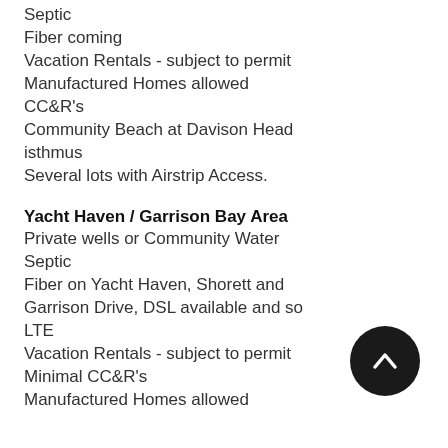Septic
Fiber coming
Vacation Rentals -  subject to permit
Manufactured Homes allowed
CC&R's
Community Beach at Davison Head isthmus
Several lots with Airstrip Access.
Yacht Haven / Garrison Bay Area
Private wells or Community Water
Septic
Fiber on Yacht Haven, Shorett and Garrison Drive, DSL available and some LTE
Vacation Rentals - subject to permit
Minimal CC&R's
Manufactured Homes allowed